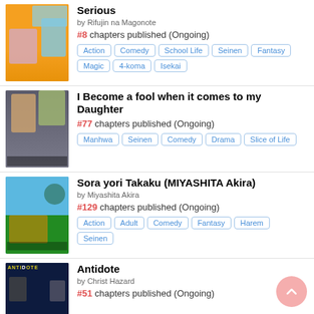[Figure (illustration): Manga cover - orange background with anime characters]
Serious
by Rifujin na Magonote
#8 chapters published (Ongoing)
Action
Comedy
School Life
Seinen
Fantasy
Magic
4-koma
Isekai
[Figure (illustration): Manhwa cover - dark background with female characters, Korean text]
I Become a fool when it comes to my Daughter
#77 chapters published (Ongoing)
Manhwa
Seinen
Comedy
Drama
Slice of Life
[Figure (illustration): Manga cover - beach scene with dinosaur-like creature and character relaxing]
Sora yori Takaku (MIYASHITA Akira)
by Miyashita Akira
#129 chapters published (Ongoing)
Action
Adult
Comedy
Fantasy
Harem
Seinen
[Figure (illustration): Manga cover - dark background with 'ANTIDOTE' text and characters]
Antidote
by Christ Hazard
#51 chapters published (Ongoing)